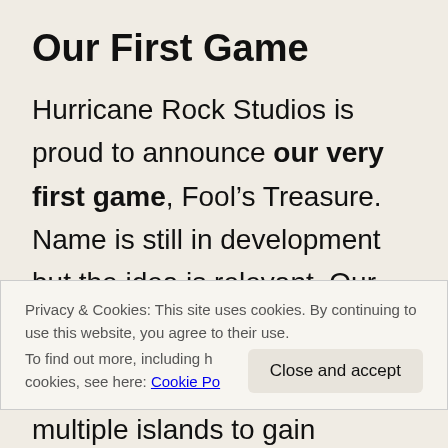Our First Game
Hurricane Rock Studios is proud to announce our very first game, Fool’s Treasure. Name is still in development but the idea is relevant. Our first game is going to be made with the Twine Engine and
Privacy & Cookies: This site uses cookies. By continuing to use this website, you agree to their use.
To find out more, including how to control cookies, see here: Cookie Policy
multiple islands to gain treasure